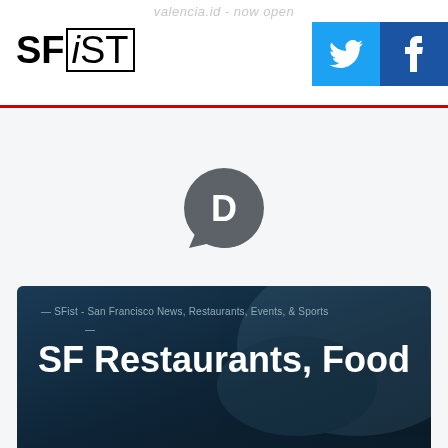valencia.id - now open
SFiST
[Figure (logo): Twitter bird icon button (blue) and Facebook 'f' icon button (dark blue) in the top right corner]
[Figure (logo): Disqus comment bubble icon with letter D in the center, dark grey color]
— SFist - San Francisco News, Restaurants, Events, & Sports
—
SF Restaurants, Food